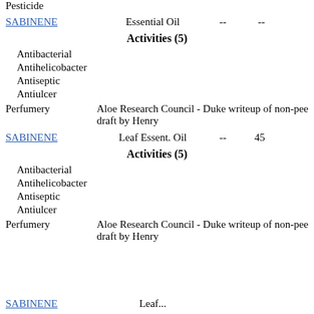Pesticide
SABINENE   Essential Oil   --   --
Activities (5)
Antibacterial
Antihelicobacter
Antiseptic
Antiulcer
Perfumery   Aloe Research Council - Duke writeup of non-pee draft by Henry
SABINENE   Leaf Essent. Oil   --   45
Activities (5)
Antibacterial
Antihelicobacter
Antiseptic
Antiulcer
Perfumery   Aloe Research Council - Duke writeup of non-pee draft by Henry
SABINENE   Leaf...